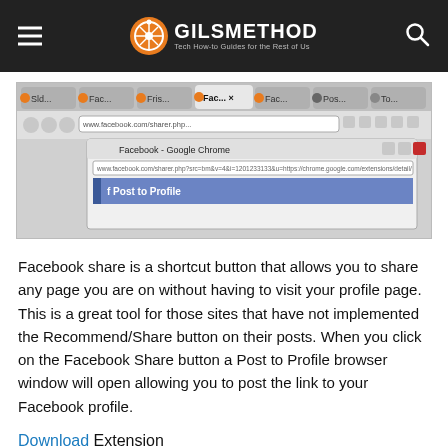GILSMETHOD — Tech How-to Guides for the Rest of Us
[Figure (screenshot): Screenshot of Google Chrome browser showing Facebook share popup with 'Post to Profile' dialog and address bar showing www.facebook.com/sharer.php URL]
Facebook share is a shortcut button that allows you to share any page you are on without having to visit your profile page. This is a great tool for those sites that have not implemented the Recommend/Share button on their posts. When you click on the Facebook Share button a Post to Profile browser window will open allowing you to post the link to your Facebook profile.
Download Extension